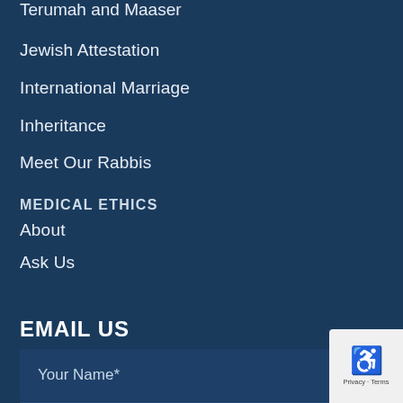Terumah and Maaser
Jewish Attestation
International Marriage
Inheritance
Meet Our Rabbis
MEDICAL ETHICS
About
Ask Us
Audio Shiurim
Join Our Email Group
EMAIL US
Your Name*
Your Email*